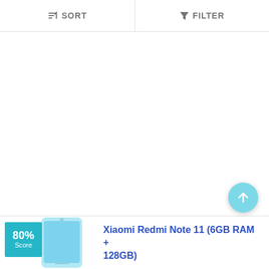SORT
FILTER
[Figure (screenshot): Mobile app screenshot showing a sort/filter toolbar at top, large white empty content area in center, and a product card at the bottom for Xiaomi Redmi Note 11 (6GB RAM + 128GB) with an 80% score badge, phone image, and a floating action button with an up arrow.]
80% Score
Xiaomi Redmi Note 11 (6GB RAM + 128GB)